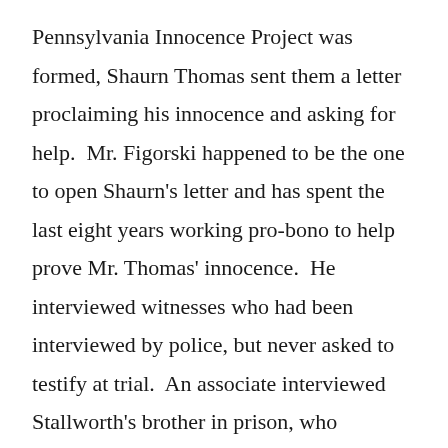Pennsylvania Innocence Project was formed, Shaurn Thomas sent them a letter proclaiming his innocence and asking for help.  Mr. Figorski happened to be the one to open Shaurn's letter and has spent the last eight years working pro-bono to help prove Mr. Thomas' innocence.  He interviewed witnesses who had been interviewed by police, but never asked to testify at trial.  An associate interviewed Stallworth's brother in prison, who admitted that he had lied about seeing Mr. Thomas at the murder scene.  Convinced of Mr. Thomas' innocence, Mr. Figorski finally met with a prosecutor from the district attorney's Conviction Review Unit in November 2016.  Members of the unit began reviewing the case and found forensic and witness statements that